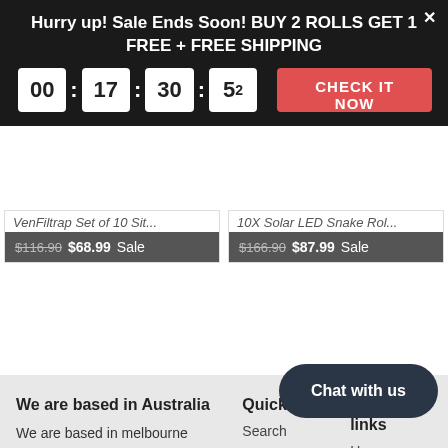Hurry up! Sale Ends Soon! BUY 2 ROLLS GET 1 FREE + FREE SHIPPING
00 : 17 : 30 : 52  CHECK IT NOW
VenFiltrap Set of 10 Sit...
$116.90  $68.99 Sale
10X Solar LED Snake Rol...
$166.90  $87.99 Sale
We are based in Australia
We are based in melbourne Australia. You can also visit our warehouse at 2 / 5 Clare street bayswater Melbourne Victoria 3153 Australia. Please contact us before you come to warehouse
Quick links
Search
Retur... polic...
Privacy
Quick links
Home
Contact
Chat with us